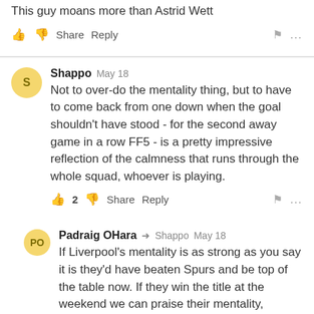This guy moans more than Astrid Wett
👍 👎 Share Reply 🏴 ...
Shappo May 18
Not to over-do the mentality thing, but to have to come back from one down when the goal shouldn't have stood - for the second away game in a row FF5 - is a pretty impressive reflection of the calmness that runs through the whole squad, whoever is playing.
👍 2 👎 Share Reply 🏴 ...
Padraig OHara → Shappo May 18
If Liverpool's mentality is as strong as you say it is they'd have beaten Spurs and be top of the table now. If they win the title at the weekend we can praise their mentality,